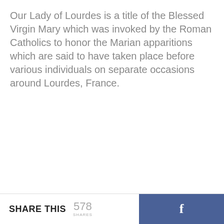Our Lady of Lourdes is a title of the Blessed Virgin Mary which was invoked by the Roman Catholics to honor the Marian apparitions which are said to have taken place before various individuals on separate occasions around Lourdes, France.
SHARE THIS 578 SHARES [Facebook share button]